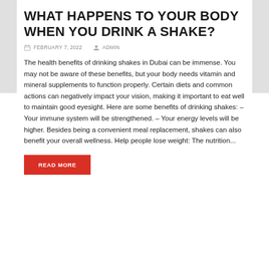WHAT HAPPENS TO YOUR BODY WHEN YOU DRINK A SHAKE?
FEBRUARY 7, 2022   ADMIN
The health benefits of drinking shakes in Dubai can be immense. You may not be aware of these benefits, but your body needs vitamin and mineral supplements to function properly. Certain diets and common actions can negatively impact your vision, making it important to eat well to maintain good eyesight. Here are some benefits of drinking shakes: – Your immune system will be strengthened. – Your energy levels will be higher. Besides being a convenient meal replacement, shakes can also benefit your overall wellness. Help people lose weight: The nutrition...
READ MORE